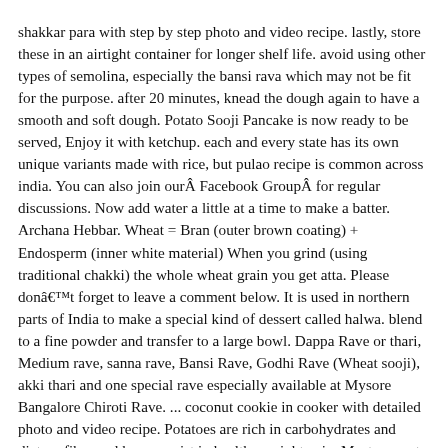shakkar para with step by step photo and video recipe. lastly, store these in an airtight container for longer shelf life. avoid using other types of semolina, especially the bansi rava which may not be fit for the purpose. after 20 minutes, knead the dough again to have a smooth and soft dough. Potato Sooji Pancake is now ready to be served, Enjoy it with ketchup. each and every state has its own unique variants made with rice, but pulao recipe is common across india. You can also join ourÂ Facebook GroupÂ for regular discussions. Now add water a little at a time to make a batter. Archana Hebbar. Wheat = Bran (outer brown coating) + Endosperm (inner white material) When you grind (using traditional chakki) the whole wheat grain you get atta. Please donât forget to leave a comment below. It is used in northern parts of India to make a special kind of dessert called halwa. blend to a fine powder and transfer to a large bowl. Dappa Rave or thari, Medium rave, sanna rave, Bansi Rave, Godhi Rave (Wheat sooji), akki thari and one special rave especially available at Mysore Bangalore Chiroti Rave. ... coconut cookie in cooker with detailed photo and video recipe. Potatoes are rich in carbohydrates and dietary fiber and hence assist in healthy weight gain. Most request, Back Ache during pregnancy and during postpartum i, What a best way to launch these cookies on World F, This error message is only visible to WordPress admins, 4 Eggless Pancake Recipes for Babies, Toddlers & Kids, Instant Savory Oats Pancake for Babies, Toddlers & Kids, Baked Vegetables â Finger Food for Babies,